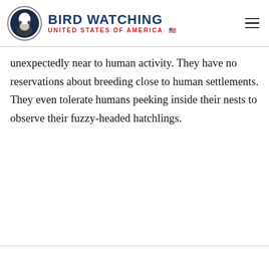BIRD WATCHING UNITED STATES OF AMERICA
unexpectedly near to human activity. They have no reservations about breeding close to human settlements. They even tolerate humans peeking inside their nests to observe their fuzzy-headed hatchlings.